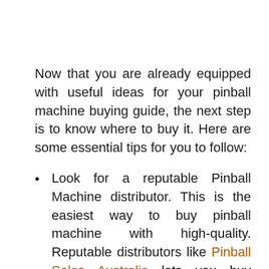Now that you are already equipped with useful ideas for your pinball machine buying guide, the next step is to know where to buy it. Here are some essential tips for you to follow:
Look for a reputable Pinball Machine distributor. This is the easiest way to buy pinball machine with high-quality. Reputable distributors like Pinball Sales Australia lets you buy pinball machine that comply with the original standards. You have to know if distributors are legit to avoid dealing